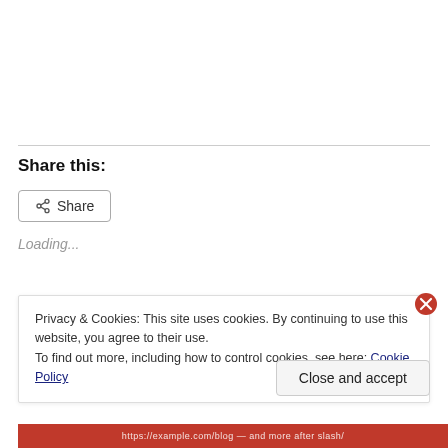Share this:
[Figure (other): Share button with share icon]
Loading...
Privacy & Cookies: This site uses cookies. By continuing to use this website, you agree to their use. To find out more, including how to control cookies, see here: Cookie Policy
Close and accept